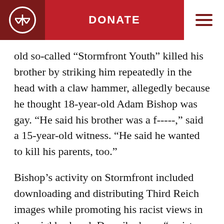DONATE
old so-called “Stormfront Youth” killed his brother by striking him repeatedly in the head with a claw hammer, allegedly because he thought 18-year-old Adam Bishop was gay. “He said his brother was a f-----,” said a 15-year-old witness. “He said he wanted to kill his parents, too.”
Bishop’s activity on Stormfront included downloading and distributing Third Reich images while promoting his racist views in the neighborhood. Described as a “racist bully with neo-Nazi views,” Bishop’s attorney cited his